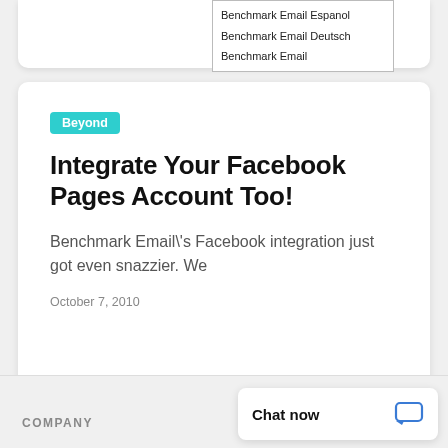Benchmark Email Espanol
Benchmark Email Deutsch
Benchmark Email
Beyond
Integrate Your Facebook Pages Account Too!
Benchmark Email\'s Facebook integration just got even snazzier. We
October 7, 2010
COMPANY
Chat now